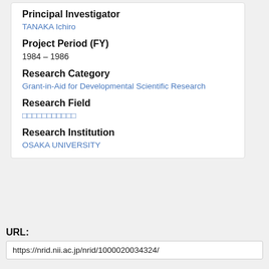Principal Investigator
TANAKA Ichiro
Project Period (FY)
1984 – 1986
Research Category
Grant-in-Aid for Developmental Scientific Research
Research Field
□□□□□□□□□□□
Research Institution
OSAKA UNIVERSITY
URL:
https://nrid.nii.ac.jp/nrid/1000020034324/